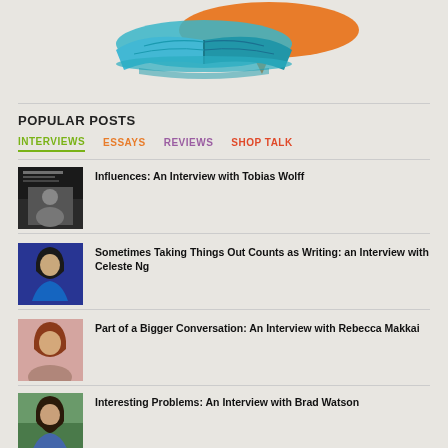[Figure (logo): Ploughshares literary magazine logo: stylized open book in blue/teal with orange speech bubble above, on light gray background]
POPULAR POSTS
INTERVIEWS  ESSAYS  REVIEWS  SHOP TALK
Influences: An Interview with Tobias Wolff
Sometimes Taking Things Out Counts as Writing: an Interview with Celeste Ng
Part of a Bigger Conversation: An Interview with Rebecca Makkai
Interesting Problems: An Interview with Brad Watson